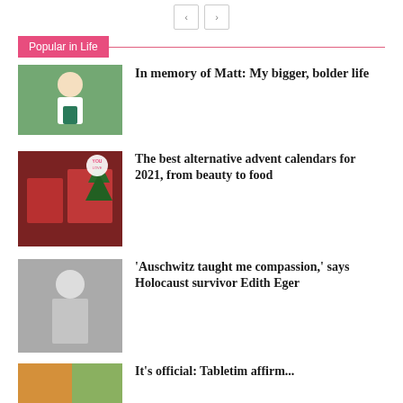[Figure (other): Navigation previous/next arrow buttons]
Popular in Life
[Figure (photo): Woman in white top and green skirt standing outdoors]
In memory of Matt: My bigger, bolder life
[Figure (photo): Red advent calendar boxes near a Christmas tree with a YOU LOVE badge]
The best alternative advent calendars for 2021, from beauty to food
[Figure (photo): Black and white photo of a woman, Holocaust survivor Edith Eger]
'Auschwitz taught me compassion,' says Holocaust survivor Edith Eger
[Figure (photo): Partial colorful image at bottom, article thumbnail]
It's official: Tabletim affirm...